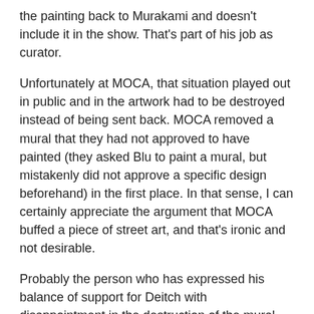the painting back to Murakami and doesn't include it in the show. That's part of his job as curator.
Unfortunately at MOCA, that situation played out in public and in the artwork had to be destroyed instead of being sent back. MOCA removed a mural that they had not approved to have painted (they asked Blu to paint a mural, but mistakenly did not approve a specific design beforehand) in the first place. In that sense, I can certainly appreciate the argument that MOCA buffed a piece of street art, and that's ironic and not desirable.
Probably the person who has expressed his balance of support for Deitch with disappointment in the destruction of the mural best is Shepard Fairey (and I've used some of his ideas in this post). Here's some of what he said to The LA Times:
He says something different to start with